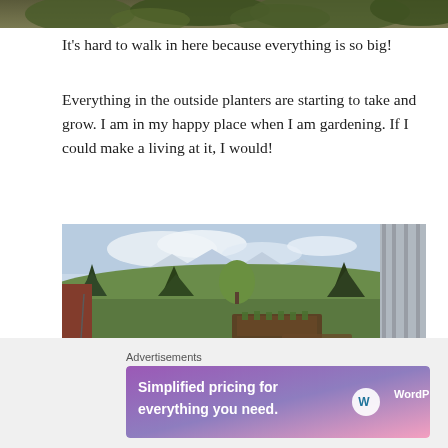[Figure (photo): Top portion of a plant/garden photo, cropped at the top of the page showing leaves and foliage]
It's hard to walk in here because everything is so big!
Everything in the outside planters are starting to take and grow. I am in my happy place when I am gardening. If I could make a living at it, I would!
[Figure (photo): Outdoor garden scene showing raised garden beds, black planting pots, green lawn, evergreen trees, mountains in background, and a greenhouse structure on the right]
[Figure (other): Close (X) button circle]
Advertisements
[Figure (screenshot): WordPress.com advertisement banner: 'Simplified pricing for everything you need.' with WordPress.com logo on gradient purple-pink background]